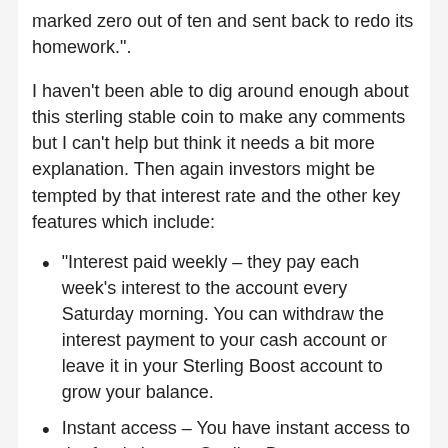marked zero out of ten and sent back to redo its homework.".
I haven't been able to dig around enough about this sterling stable coin to make any comments but I can't help but think it needs a bit more explanation. Then again investors might be tempted by that interest rate and the other key features which include:
“Interest paid weekly – they pay each week’s interest to the account every Saturday morning. You can withdraw the interest payment to your cash account or leave it in your Sterling Boost account to grow your balance.
Instant access – You have instant access to the funds in your Sterling Boost account. There are absolutely no penalties, fees or costs for adding